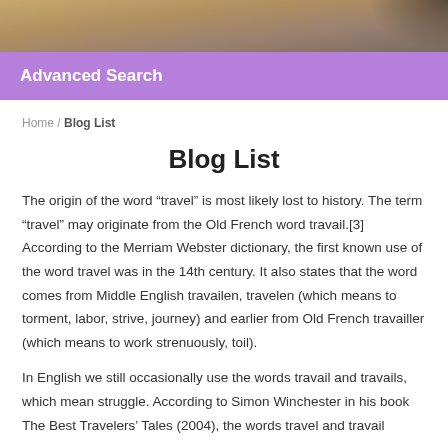[Figure (photo): Decorative banner photo showing sandy/earthy tones with dark element at top right corner]
Advanced Search
Home / Blog List
Blog List
The origin of the word “travel” is most likely lost to history. The term “travel” may originate from the Old French word travail.[3] According to the Merriam Webster dictionary, the first known use of the word travel was in the 14th century. It also states that the word comes from Middle English travailen, travelen (which means to torment, labor, strive, journey) and earlier from Old French travailler (which means to work strenuously, toil).
In English we still occasionally use the words travail and travails, which mean struggle. According to Simon Winchester in his book The Best Travelers’ Tales (2004), the words travel and travail